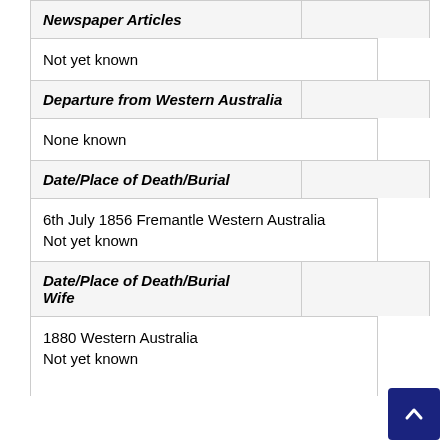| Newspaper Articles |  |
| Not yet known |  |
| Departure from Western Australia |  |
| None known |  |
| Date/Place of Death/Burial |  |
| 6th July 1856 Fremantle Western Australia
Not yet known |  |
| Date/Place of Death/Burial
Wife |  |
| 1880 Western Australia
Not yet known |  |